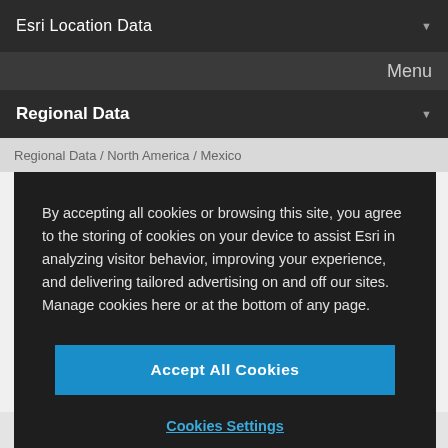Esri Location Data
Menu
Regional Data
Regional Data / North America / Mexico
By accepting all cookies or browsing this site, you agree to the storing of cookies on your device to assist Esri in analyzing visitor behavior, improving your experience, and delivering tailored advertising on and off our sites. Manage cookies here or at the bottom of any page.
Accept All Cookies
Cookies Settings